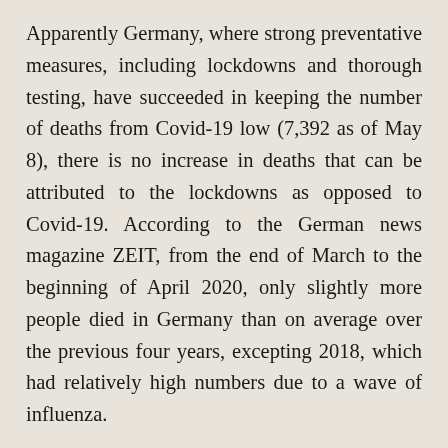Apparently Germany, where strong preventative measures, including lockdowns and thorough testing, have succeeded in keeping the number of deaths from Covid-19 low (7,392 as of May 8), there is no increase in deaths that can be attributed to the lockdowns as opposed to Covid-19. According to the German news magazine ZEIT, from the end of March to the beginning of April 2020, only slightly more people died in Germany than on average over the previous four years, excepting 2018, which had relatively high numbers due to a wave of influenza.
By contrast, countries which have moved too quickly to ease lockdowns have seen rises in infections and [Translate »] a doubling of the infection rate in the